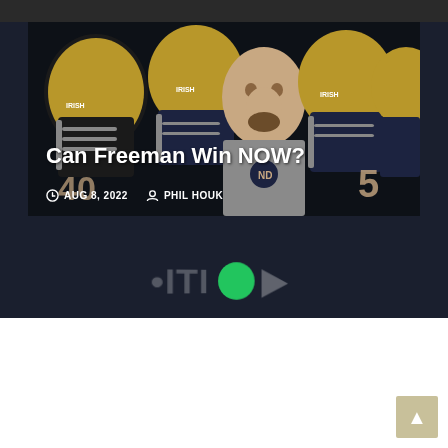[Figure (photo): Notre Dame football players in gold helmets with coach Marcus Freeman in center foreground, wearing Under Armour gear with ND logo]
Can Freeman Win NOW?
AUG 8, 2022  PHIL HOUK
[Figure (logo): Dark footer bar with partially visible text/logo and green circle element]
Leave a Reply
You must be logged in to post a comment.